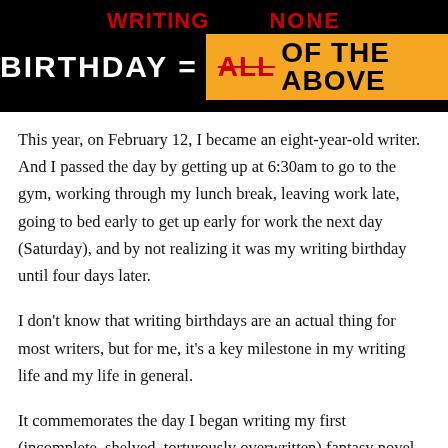[Figure (infographic): Black banner with text. Top left: red 'WRITING', top right: red 'NONE'. Bottom: white bold 'BIRTHDAY', white '=', orange box containing red strikethrough 'ALL' and black 'OF THE ABOVE'.]
This year, on February 12, I became an eight-year-old writer.   And I passed the day by getting up at 6:30am to go to the gym, working through my lunch break, leaving work late, going to bed early to get up early for work the next day (Saturday), and by not realizing it was my writing birthday until four days later.
I don't know that writing birthdays are an actual thing for most writers, but for me, it's a key milestone in my writing life and my life in general.
It commemorates the day I began writing my first (incomplete, shelved, torturously overwritten) fantasy novel, which I likewise equates to my adoption of a professional attitude about my writing